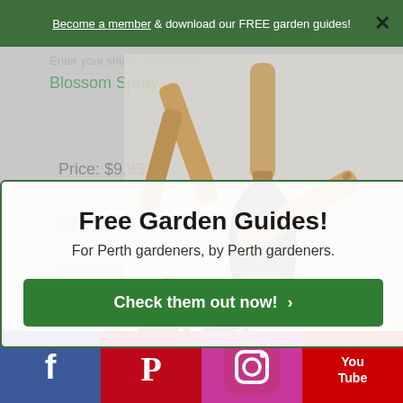Become a member & download our FREE garden guides!
[Figure (screenshot): Faded background product page showing garden tools image, product title 'Blossom Spray', price $9.95, quantity field, Add to Cart button, and Find Out More link]
Free Garden Guides!
For Perth gardeners, by Perth gardeners.
Check them out now! >
[Figure (illustration): Social media icons strip at bottom: Facebook, Pinterest, Instagram, YouTube]